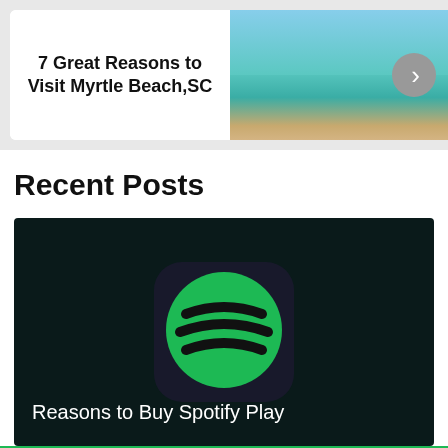[Figure (infographic): Banner card with text '7 Great Reasons to Visit Myrtle Beach,SC' on white background, beach photo on right with navigation arrow]
7 Great Reasons to Visit Myrtle Beach,SC
Recent Posts
[Figure (photo): Spotify logo app icon on dark background with text 'Reasons to Buy Spotify Play' at bottom left]